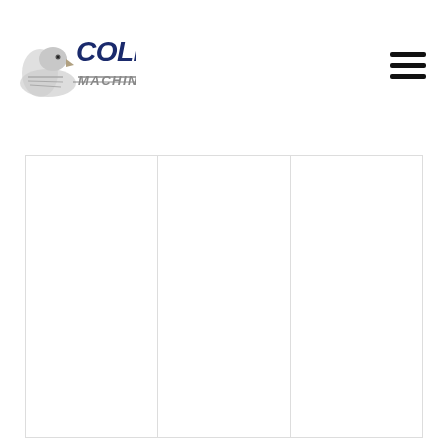[Figure (logo): Collins Machine Works logo: eagle head icon on the left with 'COLLINS' in bold dark blue italic letters above 'MACHINE WORKS' in gray italic letters]
[Figure (other): Hamburger menu icon: three horizontal black bars stacked vertically, positioned top right]